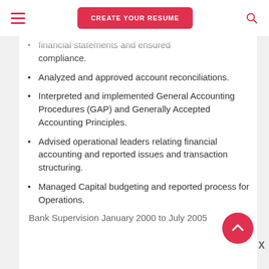CREATE YOUR RESUME
financial statements and ensured compliance.
Analyzed and approved account reconciliations.
Interpreted and implemented General Accounting Procedures (GAP) and Generally Accepted Accounting Principles.
Advised operational leaders relating financial accounting and reported issues and transaction structuring.
Managed Capital budgeting and reported process for Operations.
Bank Supervision January 2000 to July 2005